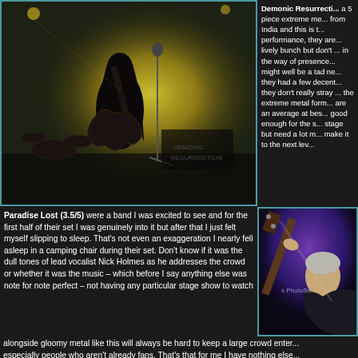[Figure (photo): Concert photo of a long-haired guitarist on stage with yellow/green dramatic lighting and a microphone stand visible]
Demonic Resurrection a 5 piece extreme metal band from India and this is their first performance, they are quite a lively bunch but don't offer much in the way of presence and might well be a tad nervous, they had a few decent songs but they don't really stray far from the extreme metal formula and are an average at best show, good enough for the smaller stage but need a lot more to make it to the next level.
Paradise Lost (3.5/5) were a band I was excited to see and for the first half of their set I was genuinely into it but after that I just felt myself slipping to sleep. That's not even an exaggeration I nearly fell asleep in a camping chair during their set. Don't know if it was the dull tones of lead vocalist Nick Holmes as he addresses the crowd or whether it was the music – which before I say anything else was note for note perfect – not having any particular stage show to watch alongside gloomy metal like this will always be hard to keep a large crowd entertained, especially people who aren't already fans. That's that for me I have nothing else...
[Figure (photo): Concert photo of a musician playing bass guitar under purple/blue lighting on stage]